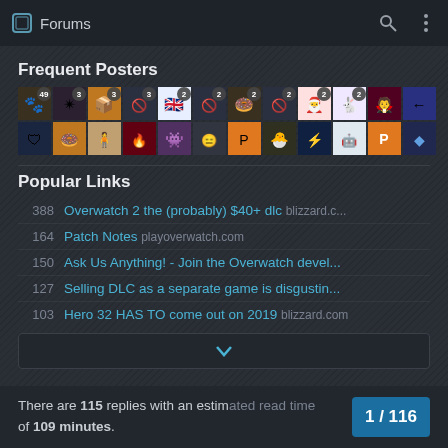Forums
Frequent Posters
[Figure (illustration): Grid of user avatar icons with post count badges, two rows of 12 avatars]
Popular Links
388  Overwatch 2 the (probably) $40+ dlc  blizzard.c...
164  Patch Notes  playoverwatch.com
150  Ask Us Anything! - Join the Overwatch devel...
127  Selling DLC as a separate game is disgustin...
103  Hero 32 HAS TO come out on 2019  blizzard.com
There are 115 replies with an estimated read time of 109 minutes.